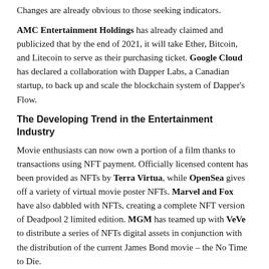Changes are already obvious to those seeking indicators.
AMC Entertainment Holdings has already claimed and publicized that by the end of 2021, it will take Ether, Bitcoin, and Litecoin to serve as their purchasing ticket. Google Cloud has declared a collaboration with Dapper Labs, a Canadian startup, to back up and scale the blockchain system of Dapper's Flow.
The Developing Trend in the Entertainment Industry
Movie enthusiasts can now own a portion of a film thanks to transactions using NFT payment. Officially licensed content has been provided as NFTs by Terra Virtua, while OpenSea gives off a variety of virtual movie poster NFTs. Marvel and Fox have also dabbled with NFTs, creating a complete NFT version of Deadpool 2 limited edition. MGM has teamed up with VeVe to distribute a series of NFTs digital assets in conjunction with the distribution of the current James Bond movie – the No Time to Die.